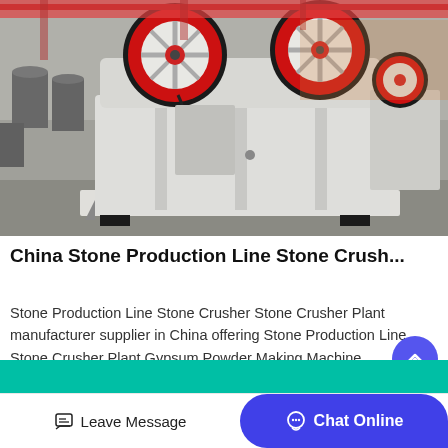[Figure (photo): Industrial jaw crusher / stone crusher machine in a factory workshop setting. Machine is white and red, with two large red/black flywheel wheels on top. Another smaller crusher visible in background right. Factory floor with steel cylinders/barrels on the left.]
China Stone Production Line Stone Crush...
Stone Production Line Stone Crusher Stone Crusher Plant manufacturer supplier in China offering Stone Production Line Stone Crusher Plant Gypsum Powder Making Machine Manufacturer 2021 Hot Sale 20 100 2500 Mesh Micron...